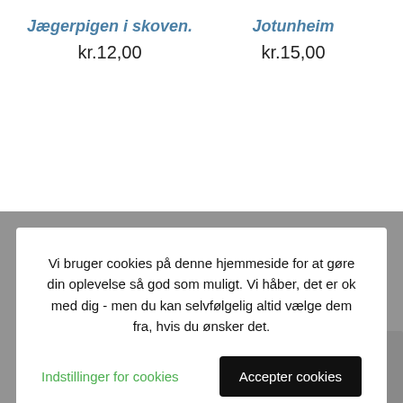Jægerpigen i skoven.
kr.12,00
Jotunheim
kr.15,00
Vi bruger cookies på denne hjemmeside for at gøre din oplevelse så god som muligt. Vi håber, det er ok med dig - men du kan selvfølgelig altid vælge dem fra, hvis du ønsker det.
Indstillinger for cookies
Accepter cookies
Ravnene
kr.15,00
Michelle Bourret danser Harlekin
kr.12,00